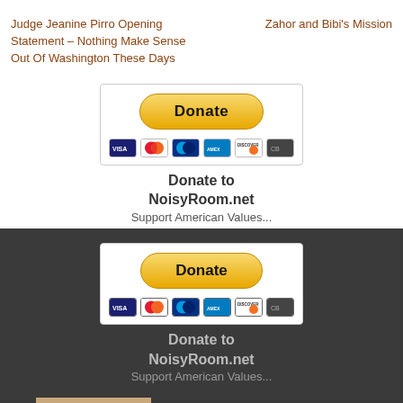Judge Jeanine Pirro Opening Statement – Nothing Make Sense Out Of Washington These Days
Zahor and Bibi's Mission
[Figure (other): PayPal Donate button with credit card icons (VISA, Mastercard, Amex, Discover) — white background version]
Donate to NoisyRoom.net Support American Values...
[Figure (other): PayPal Donate button with credit card icons (VISA, Mastercard, Amex, Discover) — dark background version]
Donate to NoisyRoom.net Support American Values...
[Figure (photo): Partial photo of a bald man's head and shoulders against a beige/brown background]